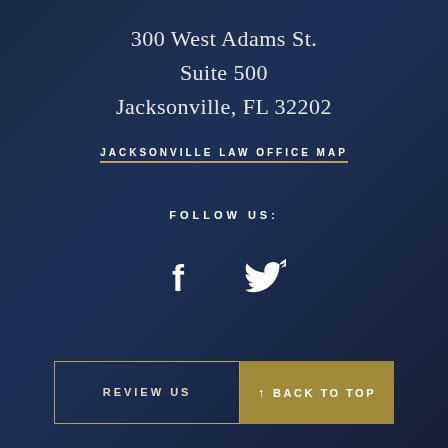300 West Adams St.
Suite 500
Jacksonville, FL 32202
JACKSONVILLE LAW OFFICE MAP
FOLLOW US:
[Figure (illustration): Social media icons: Facebook (f) and Twitter (bird) in white on dark navy background]
REVIEW US
↑ BACK TO TOP